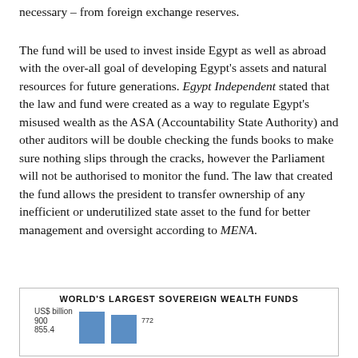necessary – from foreign exchange reserves.
The fund will be used to invest inside Egypt as well as abroad with the over-all goal of developing Egypt's assets and natural resources for future generations. Egypt Independent stated that the law and fund were created as a way to regulate Egypt's misused wealth as the ASA (Accountability State Authority) and other auditors will be double checking the funds books to make sure nothing slips through the cracks, however the Parliament will not be authorised to monitor the fund. The law that created the fund allows the president to transfer ownership of any inefficient or underutilized state asset to the fund for better management and oversight according to MENA.
[Figure (bar-chart): WORLD'S LARGEST SOVEREIGN WEALTH FUNDS]